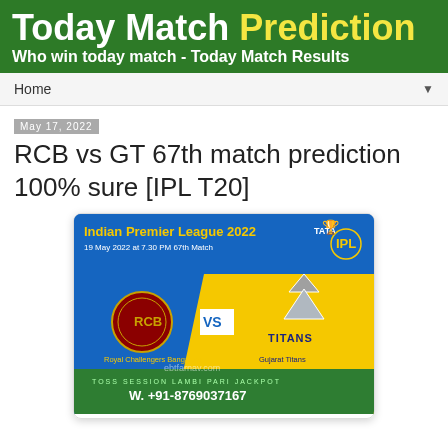Today Match Prediction - Who win today match - Today Match Results
Home
May 17, 2022
RCB vs GT 67th match prediction 100% sure [IPL T20]
[Figure (infographic): IPL 2022 match card showing RCB vs Gujarat Titans, 67th match on 19 May 2022 at 7.30 PM, with team logos, VS text, and contact number W. +91-8769037167]